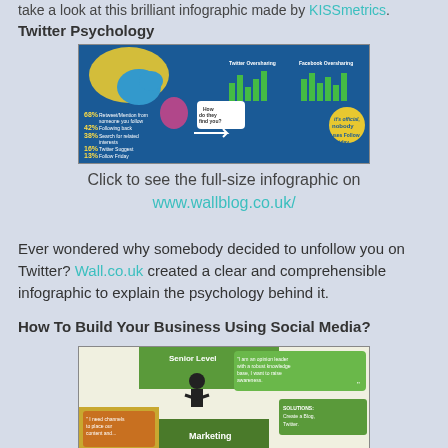take a look at this brilliant infographic made by KISSmetrics.
Twitter Psychology
[Figure (infographic): Twitter Psychology infographic by KISSmetrics showing Twitter and Facebook oversharing bar charts, and statistics about how people find you on Twitter including percentages for Retweet/Mention from someone you follow (68%), Following back (42%), Search for related interests (38%), Twitter Suggest (16%), Follow Friday Recommendation (13%).]
Click to see the full-size infographic on www.wallblog.co.uk/
Ever wondered why somebody decided to unfollow you on Twitter? Wall.co.uk created a clear and comprehensible infographic to explain the psychology behind it.
How To Build Your Business Using Social Media?
[Figure (infographic): Infographic showing how to build your business using social media. Shows Senior Level with quote 'I am an opinion leader with a robust knowledge base, I want to raise awareness.' and SOLUTIONS: Create a Blog, Twitter. Also shows Marketing level with quote 'I need channels to place our content and...']